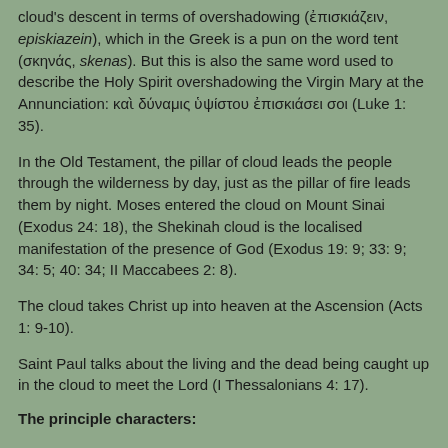cloud's descent in terms of overshadowing (ἐπισκιάζειν, episkiazein), which in the Greek is a pun on the word tent (σκηνάς, skenas). But this is also the same word used to describe the Holy Spirit overshadowing the Virgin Mary at the Annunciation: καὶ δύναμις ὑψίστου ἐπισκιάσει σοι (Luke 1: 35).
In the Old Testament, the pillar of cloud leads the people through the wilderness by day, just as the pillar of fire leads them by night. Moses entered the cloud on Mount Sinai (Exodus 24: 18), the Shekinah cloud is the localised manifestation of the presence of God (Exodus 19: 9; 33: 9; 34: 5; 40: 34; II Maccabees 2: 8).
The cloud takes Christ up into heaven at the Ascension (Acts 1: 9-10).
Saint Paul talks about the living and the dead being caught up in the cloud to meet the Lord (I Thessalonians 4: 17).
The principle characters: